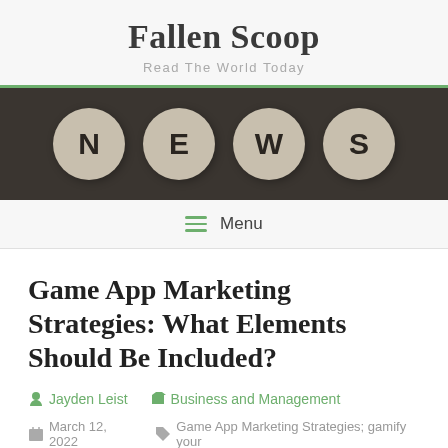Fallen Scoop
Read The World Today
[Figure (photo): Four round beige/cream tiles arranged side by side on a dark background, each displaying a letter spelling N-E-W-S in bold black text]
Menu
Game App Marketing Strategies: What Elements Should Be Included?
Jayden Leist    Business and Management
March 12, 2022    Game App Marketing Strategies; gamify your